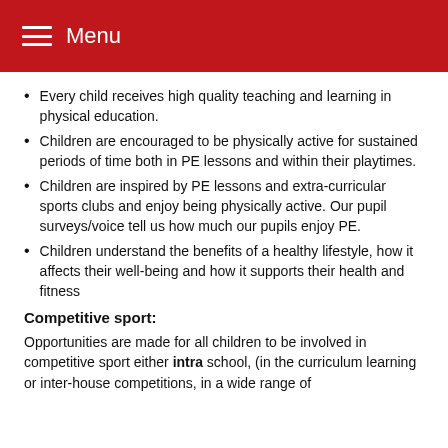Menu
Every child receives high quality teaching and learning in physical education.
Children are encouraged to be physically active for sustained periods of time both in PE lessons and within their playtimes.
Children are inspired by PE lessons and extra-curricular sports clubs and enjoy being physically active. Our pupil surveys/voice tell us how much our pupils enjoy PE.
Children understand the benefits of a healthy lifestyle, how it affects their well-being and how it supports their health and fitness
Competitive sport:
Opportunities are made for all children to be involved in competitive sport either intra school, (in the curriculum learning or inter-house competitions, in a wide range of